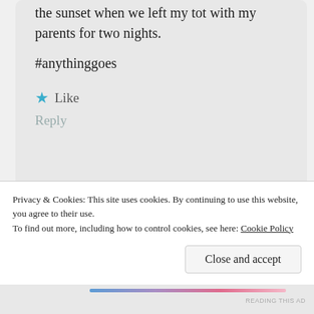the sunset when we left my tot with my parents for two nights.

#anythinggoes
Like
Reply
Pingback: My five proudest parenting moments | musingmummablog
Privacy & Cookies: This site uses cookies. By continuing to use this website, you agree to their use.
To find out more, including how to control cookies, see here: Cookie Policy
Close and accept